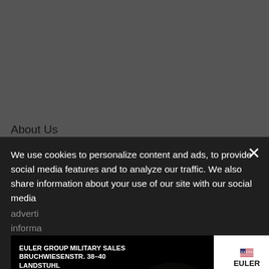[Figure (screenshot): Dark gray top area of a website navigation]
About Us
Advertise with Us
Contact Us
KMC Reads the Kaiserslautern American
Archives
We use cookies to personalize content and ads, to provide social media features and to analyze our traffic. We also share information about your use of our site with our social media adverti... informa...
[Figure (illustration): Euler Group Military Sales advertisement banner showing BMW car, address BRUCHWIESENSTR. 38-40 LANDSTUHL, YOUR BMW & MINI DEALER badge, and Euler Group logo with BMW and MINI brand logos]